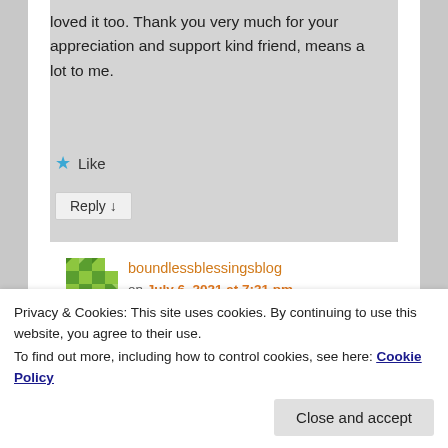loved it too. Thank you very much for your appreciation and support kind friend, means a lot to me.
★ Like
Reply ↓
boundlessblessingsblog on July 6, 2021 at 7:31 pm said:
You are always welcome dear friend and love reading all your
Privacy & Cookies: This site uses cookies. By continuing to use this website, you agree to their use.
To find out more, including how to control cookies, see here: Cookie Policy